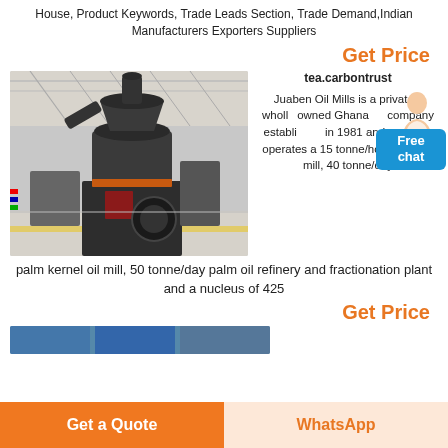House, Product Keywords, Trade Leads Section, Trade Demand,Indian Manufacturers Exporters Suppliers
Get Price
[Figure (photo): Industrial palm oil mill machine (large cylindrical grinder) inside a factory/warehouse]
tea.carbontrust
Juaben Oil Mills is a privately wholly owned Ghanaian company established in 1981 and currently operates a 15 tonne/hour palm oil mill, 40 tonne/day palm kernel oil mill, 50 tonne/day palm oil refinery and fractionation plant and a nucleus of 425
Get Price
[Figure (photo): Partial view of another industrial machine photo strip at the bottom]
Get a Quote
WhatsApp